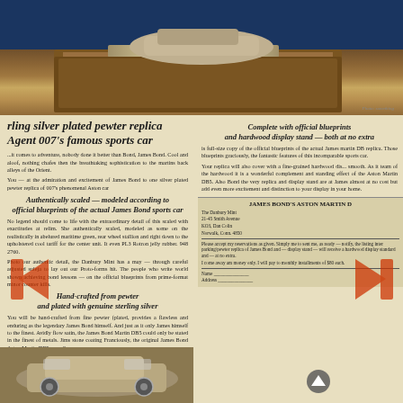[Figure (photo): Silver plated pewter Aston Martin replica on wooden display stand with metal nameplate, photographed against blue background]
rling silver plated pewter replica Agent 007's famous sports car
Authentically scaled — modeled according to official blueprints of the actual James Bond sports car
No legend should come to life with the extraordinary detail of this scaled-with-exactitude at rehlm. She authentically scaled modeled as some on the realistically in elabelured maritime green, rear wheel stallion and right down to the upholstered cool tariff for the center unit. It even PL3 Roman jelly rubber. 948 2760.
Photo our authentic detail, the Danbury Mint has a may — through careful adjusted suleja to lay out our Proto-forms hit. The people who write world shown achieving bond lessons — on the official blueprints from prime-format minor counter kills.
Hand-crafted from pewter and plated with genuine sterling silver
You will be hand-crafted from fine pewter (plated, provides a flawless and enduring as the legendary James Bond himself. And just as it only James himself to the finest. Avidly flow satin, the James Bond Martin DB5 could only be stated in the finest of metals. Jims stone coating Franciously, the original James Bond Aston Martin DB5 was silver
prized silver it pleased and valued by collectors everywhere due to its thoroughbred luxury. The striking, sterling silver plated pewter replica famous sports car is certain to bring back of admiration from friends alike.
Complete with official blueprints and hardwood display stand — both at no extra
is full-size copy of the official blueprints of the actual James Martin DB replica. These blueprints graciously, the fantastic features of this incomparable sports car.
Your replica will also cover with a fine-grained hardwood display smooth. As a team of the hardwood it is a wonderful complement and standing effect of the Aston Martin DB5. Also Bond the very replica and display stand are at James almost at no cost but add even more excitement and distinction to your display in your home.
Available exclusively from the Danbury Mint
Privately commissioned, this remarkable collectible is available exclusively from the Danbury Mint and will not be available in stores. The price is 4.55 payable in four monthly installments of $00 each. You need send no money now. Simply complete the reservation application and return it to the Danbury Mint.
[Figure (photo): Close-up photograph of silver Aston Martin DB5 replica model car showing front detail]
[Figure (photo): Bottom photo of silver Aston Martin replica from different angle]
| JAMES BOND'S ASTON MARTIN DB |
| The Danbury Mint |
| 21-45 Smith Avenue |
| KO3, Dan Colin |
| Norwalk, Conn. 4850 |
| Please accept my reservation as given. Simply me to sent me, as ready — notify, the listing inter parking/pewter replica of James Bond and — display stand — will receive a hardwood display standard and — to no extra. |
| I come away am money only. I will pay to monthly installments of $80 each. |
| Name |
| Address |